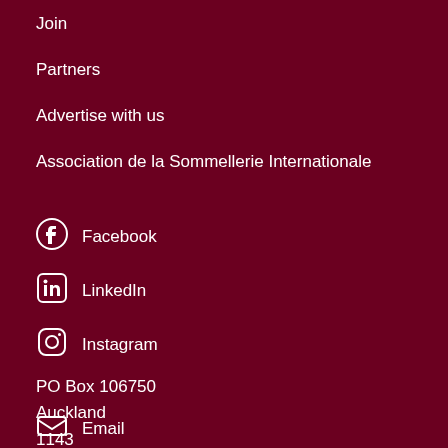Join
Partners
Advertise with us
Association de la Sommellerie Internationale
Facebook
LinkedIn
Instagram
PO Box 106750
Auckland
1143
New Zealand
Email